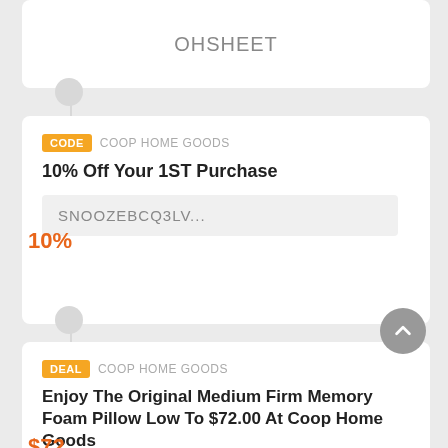OHSHEET
CODE  COOP HOME GOODS
10% Off Your 1ST Purchase
10%
SNOOZEBCQ3LV...
DEAL  COOP HOME GOODS
Enjoy The Original Medium Firm Memory Foam Pillow Low To $72.00 At Coop Home Goods
$72
Get Deal